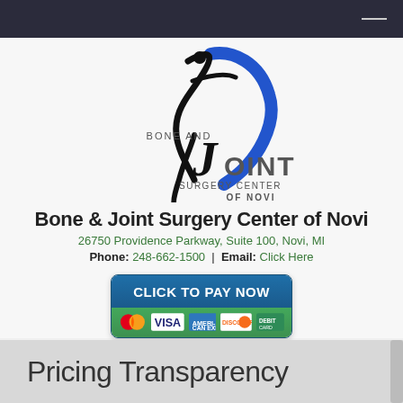Navigation bar
[Figure (logo): Bone and Joint Surgery Center of Novi logo — a stylized figure of a person in motion with a blue swoosh, with the text BONE AND JOINT SURGERY CENTER OF NOVI]
Bone & Joint Surgery Center of Novi
26750 Providence Parkway, Suite 100, Novi, MI
Phone: 248-662-1500 | Email: Click Here
[Figure (other): CLICK TO PAY NOW button with payment card logos: MasterCard, VISA, American Express, Discover, Debit Card]
Pricing Transparency